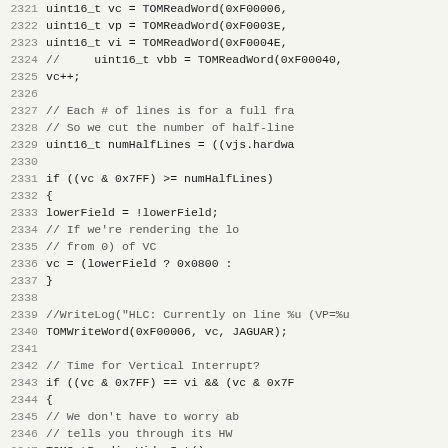[Figure (screenshot): Source code listing showing C++ code lines 2321-2352, with line numbers on the left in gray and code on the right in monospace font on a light beige background.]